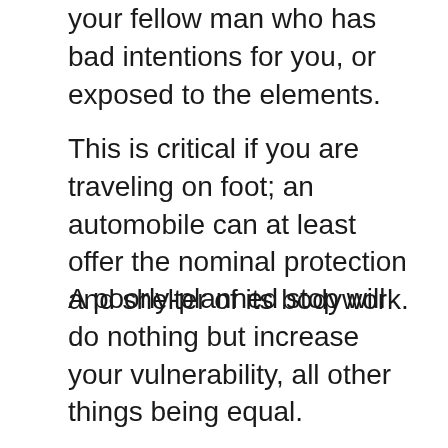your fellow man who has bad intentions for you, or exposed to the elements.
This is critical if you are traveling on foot; an automobile can at least offer the nominal protection and shelter of its bodywork.
A poorly-planned stop will do nothing but increase your vulnerability, all other things being equal.
Security
You will face increased danger from your fellow man anytime you are living in a without-rule-of-law scenario, for instance the kind we experienced in 2020 that has made